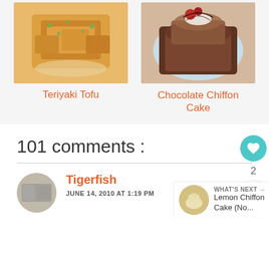[Figure (photo): Photo of Teriyaki Tofu dish on a white plate]
Teriyaki Tofu
[Figure (photo): Photo of Chocolate Chiffon Cake slice on a blue plate with strawberry and cream]
Chocolate Chiffon Cake
101 comments :
Tigerfish
JUNE 14, 2010 AT 1:19 PM
[Figure (photo): What's Next thumbnail - Lemon Chiffon Cake]
WHAT'S NEXT → Lemon Chiffon Cake (No...